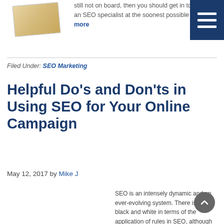[Figure (illustration): Book image thumbnail in top left corner]
still not on board, then you should get in touch with an SEO specialist at the soonest possible … [Read more]
[Figure (other): Dark blue hamburger menu button in top right corner]
Filed Under: SEO Marketing
Helpful Do's and Don'ts in Using SEO for Your Online Campaign
May 12, 2017 by Mike J
SEO is an intensely dynamic and an ever-evolving system. There is no black and white in terms of the application of rules in SEO, although there is a